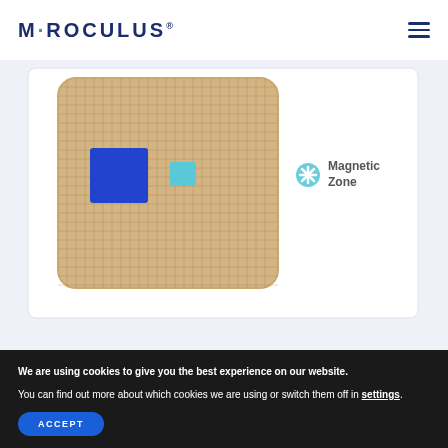MIROCULUS
[Figure (photo): Close-up of a Miroculus microfluidic chip card showing a gold/tan colored chip with a grid pattern, a large blue square region and a small cyan square region visible. A legend shows a cyan asterisk symbol labeled 'Magnetic Zone'.]
We are using cookies to give you the best experience on our website.
You can find out more about which cookies we are using or switch them off in settings.
ACCEPT